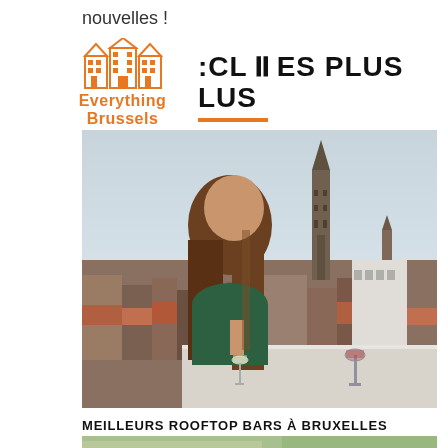nouvelles !
[Figure (logo): Everything Brussels logo with orange building illustration and orange text]
CLESTES PLUS LUS
[Figure (photo): Woman with long hair holding a wine glass, looking over Brussels rooftops with a church tower visible in the background. Another wine glass on a white railing in the foreground.]
MEILLEURS ROOFTOP BARS À BRUXELLES
[Figure (photo): Partial view of another rooftop bar image (cropped at bottom of page)]